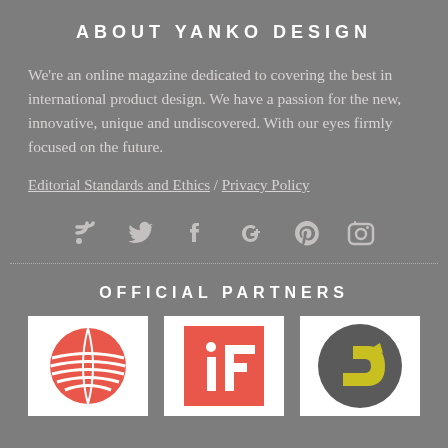ABOUT YANKO DESIGN
We're an online magazine dedicated to covering the best in international product design. We have a passion for the new, innovative, unique and undiscovered. With our eyes firmly focused on the future.
Editorial Standards and Ethics / Privacy Policy
[Figure (infographic): Social media icons: RSS, Twitter, Facebook, Google+, Pinterest, Instagram]
OFFICIAL PARTNERS
[Figure (logo): Red Dot award logo - red sphere with horizontal lines]
[Figure (logo): iF design award logo - white 'iF' letters on coral/pink background square]
[Figure (logo): D award logo - grey circle with yellow D-shaped arrow icon]